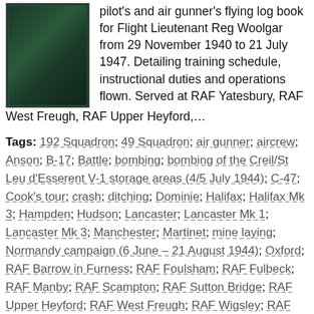[Figure (photo): Image of a dark green logbook cover]
pilot's and air gunner's flying log book for Flight Lieutenant Reg Woolgar from 29 November 1940 to 21 July 1947. Detailing training schedule, instructional duties and operations flown. Served at RAF Yatesbury, RAF West Freugh, RAF Upper Heyford,…
Tags: 192 Squadron; 49 Squadron; air gunner; aircrew; Anson; B-17; Battle; bombing; bombing of the Creil/St Leu d'Esserent V-1 storage areas (4/5 July 1944); C-47; Cook's tour; crash; ditching; Dominie; Halifax; Halifax Mk 3; Hampden; Hudson; Lancaster; Lancaster Mk 1; Lancaster Mk 3; Manchester; Martinet; mine laying; Normandy campaign (6 June – 21 August 1944); Oxford; RAF Barrow in Furness; RAF Foulsham; RAF Fulbeck; RAF Manby; RAF Scampton; RAF Sutton Bridge; RAF Upper Heyford; RAF West Freugh; RAF Wigsley; RAF Yatesbury; Tiger Moth; training; Wellington; Whitley; wireless operator / air gunner; York